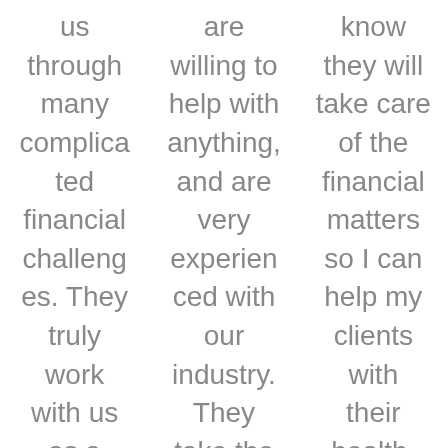us through many complicated financial challenges. They truly work with us as a partner to keep our business successf
are willing to help with anything, and are very experienced with our industry. They take the time to provide education, discuss
know they will take care of the financial matters so I can help my clients with their health. No matter what you need, they got